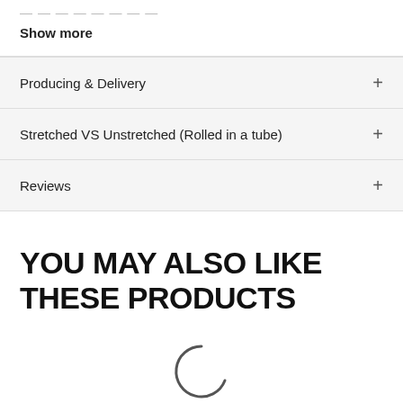Show more
Producing & Delivery
Stretched VS Unstretched (Rolled in a tube)
Reviews
YOU MAY ALSO LIKE THESE PRODUCTS
[Figure (other): Loading spinner (partial circle arc indicating content is loading)]